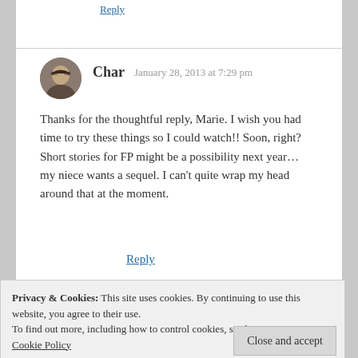Reply
[Figure (photo): Circular avatar photo of a woman with short dark hair and glasses]
Char  January 28, 2013 at 7:29 pm
Thanks for the thoughtful reply, Marie. I wish you had time to try these things so I could watch!! Soon, right? Short stories for FP might be a possibility next year… my niece wants a sequel. I can't quite wrap my head around that at the moment.
Reply
Privacy & Cookies: This site uses cookies. By continuing to use this website, you agree to their use.
To find out more, including how to control cookies, see here:
Cookie Policy